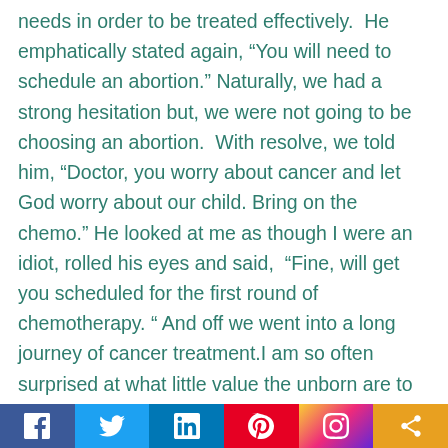needs in order to be treated effectively.  He emphatically stated again, “You will need to schedule an abortion.” Naturally, we had a strong hesitation but, we were not going to be choosing an abortion.  With resolve, we told him, “Doctor, you worry about cancer and let God worry about our child. Bring on the chemo.” He looked at me as though I were an idiot, rolled his eyes and said,  “Fine, will get you scheduled for the first round of chemotherapy. “ And off we went into a long journey of cancer treatment.I am so often surprised at what little value the unborn are to our society, as though somehow that life is less important or less valuable, especially when they get in the way of one’s goals. This is the dichotomy with this whole abortion argument. It’s either a life created and given by God or it’s just a blob of tissue. I think one of the
[Figure (other): Social sharing bar with Facebook, Twitter, LinkedIn, Pinterest, Instagram, and share icons]